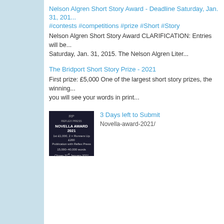Nelson Algren Short Story Award - Deadline Saturday, Jan. 31, 201... #contests #competitions #prize #Short #Story
Nelson Algren Short Story Award CLARIFICATION: Entries will be... Saturday, Jan. 31, 2015. The Nelson Algren Liter...
The Bridport Short Story Prize - 2021
First prize: £5,000 One of the largest short story prizes, the winning... you will see your words in print...
[Figure (photo): Dark-themed promotional image for Novella Award 2021 by Reflex Press, showing award details including £1,000 prize, runners up £200, publication with Reflex Press, 15,000–40,000 words, closes 31st January 2021]
3 Days left to Submit
Novella-award-2021/